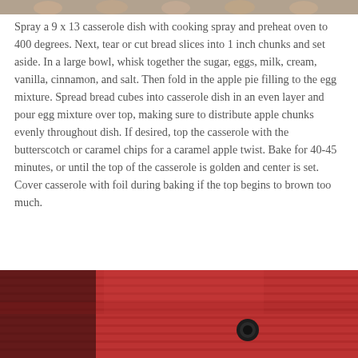[Figure (photo): Top portion of a photo showing people, partially cropped at top of page]
Spray a 9 x 13 casserole dish with cooking spray and preheat oven to 400 degrees. Next, tear or cut bread slices into 1 inch chunks and set aside. In a large bowl, whisk together the sugar, eggs, milk, cream, vanilla, cinnamon, and salt. Then fold in the apple pie filling to the egg mixture. Spread bread cubes into casserole dish in an even layer and pour egg mixture over top, making sure to distribute apple chunks evenly throughout dish. If desired, top the casserole with the butterscotch or caramel chips for a caramel apple twist. Bake for 40-45 minutes, or until the top of the casserole is golden and center is set. Cover casserole with foil during baking if the top begins to brown too much.
[Figure (photo): Bottom portion showing a red knit fabric/sweater with what appears to be a dark button or accessory]